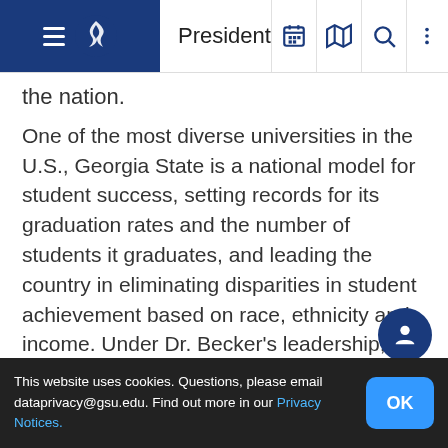President
the nation.
One of the most diverse universities in the U.S., Georgia State is a national model for student success, setting records for its graduation rates and the number of students it graduates, and leading the country in eliminating disparities in student achievement based on race, ethnicity and income. Under Dr. Becker’s leadership, Georgia State has built a burgeoning research enterprise, growing sponsored research at more than twice the national rate. Through the rapid development of its campus and its engagement with civic and business leaders, the university has been recognized as a major catalyst for the revitalization of downto...
This website uses cookies. Questions, please email dataprivacy@gsu.edu. Find out more in our Privacy Notices.